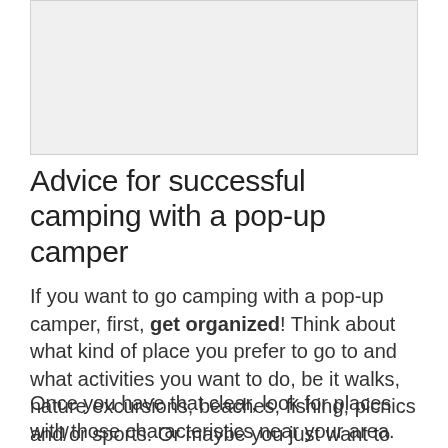[Figure (photo): Image placeholder at the top of the page, light gray rectangle]
Advice for successful camping with a pop-up camper
If you want to go camping with a pop-up camper, first, get organized! Think about what kind of place you prefer to go to and what activities you want to do, be it walks, nature excursions, beaches, fishing, picnics and/or sports. Or maybe you just want to rest a bit and enjoy a good book!
Once you have that clear, look for places with those characteristics near your area. Then, go to the store, and find the necessary